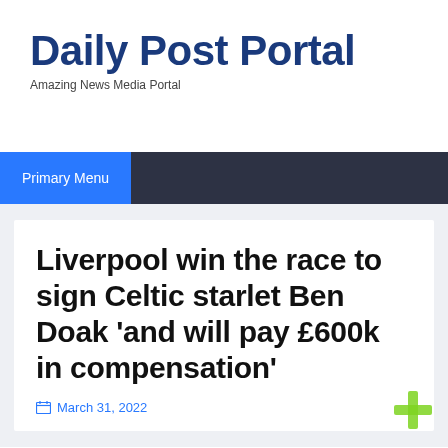Daily Post Portal
Amazing News Media Portal
Primary Menu
Liverpool win the race to sign Celtic starlet Ben Doak ‘and will pay £600k in compensation’
March 31, 2022